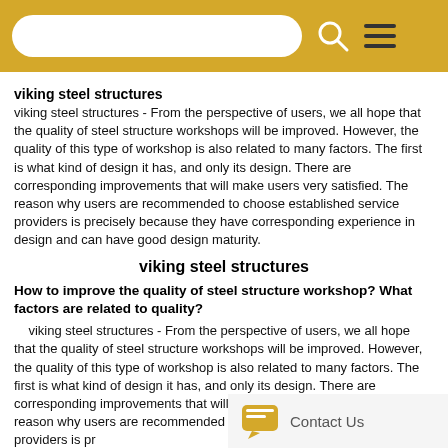[search bar, search icon, menu icon]
viking steel structures
viking steel structures - From the perspective of users, we all hope that the quality of steel structure workshops will be improved. However, the quality of this type of workshop is also related to many factors. The first is what kind of design it has, and only its design. There are corresponding improvements that will make users very satisfied. The reason why users are recommended to choose established service providers is precisely because they have corresponding experience in design and can have good design maturity.
viking steel structures
How to improve the quality of steel structure workshop? What factors are related to quality?
viking steel structures - From the perspective of users, we all hope that the quality of steel structure workshops will be improved. However, the quality of this type of workshop is also related to many factors. The first is what kind of design it has, and only its design. There are corresponding improvements that will make users very satisfied. The reason why users are recommended to choose established service providers is pr corresponding experience in design and c